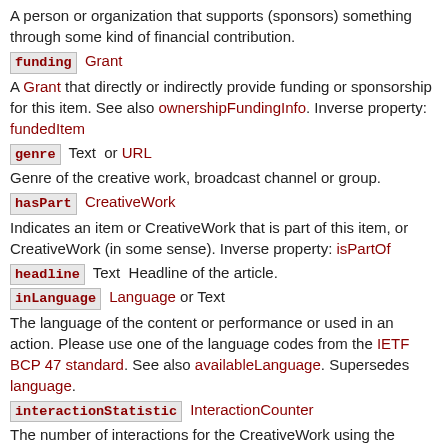A person or organization that supports (sponsors) something through some kind of financial contribution.
funding  Grant
A Grant that directly or indirectly provide funding or sponsorship for this item. See also ownershipFundingInfo. Inverse property: fundedItem
genre  Text  or URL
Genre of the creative work, broadcast channel or group.
hasPart  CreativeWork
Indicates an item or CreativeWork that is part of this item, or CreativeWork (in some sense). Inverse property: isPartOf
headline  Text  Headline of the article.
inLanguage  Language  or Text
The language of the content or performance or used in an action. Please use one of the language codes from the IETF BCP 47 standard. See also availableLanguage. Supersedes language.
interactionStatistic  InteractionCounter
The number of interactions for the CreativeWork using the WebSite or SoftwareApplication. The most specific child type of InteractionCounter should be used. Supersedes interactionCount.
interactivityType  Text
The predominant mode of learning supported by the learning resource. Acceptable values are 'active', 'expositive', or 'mixed'.
interpretedAsClaim  Claim